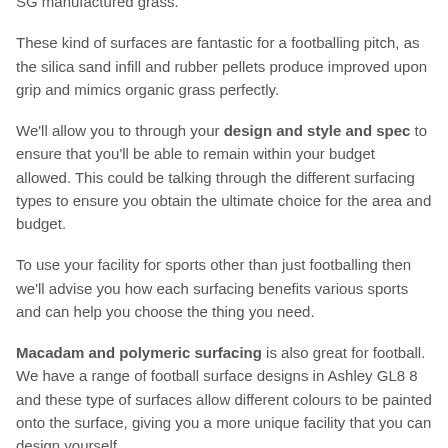SG manufactured grass.
These kind of surfaces are fantastic for a footballing pitch, as the silica sand infill and rubber pellets produce improved upon grip and mimics organic grass perfectly.
We'll allow you to through your design and style and spec to ensure that you'll be able to remain within your budget allowed. This could be talking through the different surfacing types to ensure you obtain the ultimate choice for the area and budget.
To use your facility for sports other than just footballing then we'll advise you how each surfacing benefits various sports and can help you choose the thing you need.
Macadam and polymeric surfacing is also great for football. We have a range of football surface designs in Ashley GL8 8 and these type of surfaces allow different colours to be painted onto the surface, giving you a more unique facility that you can design yourself.
We are able to alter our current designs and specifications to meet